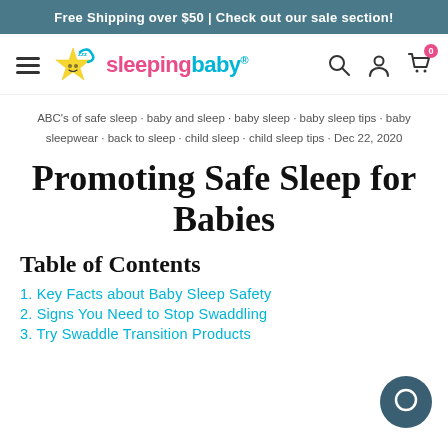Free Shipping over $50 | Check out our sale section!
[Figure (logo): Sleeping Baby logo with hamburger menu, star/moon icon, brand name 'sleepingbaby' in pink and teal, and navigation icons (search, account, cart with badge '0')]
ABC's of safe sleep · baby and sleep · baby sleep · baby sleep tips · baby sleepwear · back to sleep · child sleep · child sleep tips · Dec 22, 2020
Promoting Safe Sleep for Babies
Table of Contents
1. Key Facts about Baby Sleep Safety
2. Signs You Need to Stop Swaddling
3. Try Swaddle Transition Products